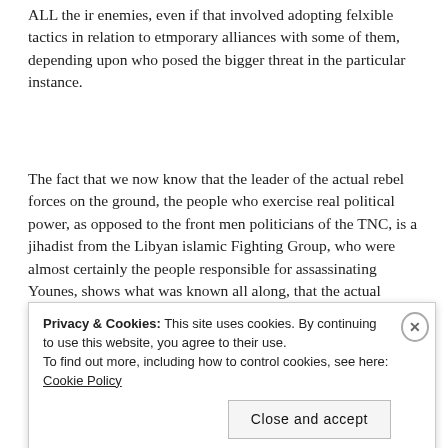ALL the ir enemies, even if that involved adopting felxible tactics in relation to etmporary alliances with some of them, depending upon who posed the bigger threat in the particular instance.
The fact that we now know that the leader of the actual rebel forces on the ground, the people who exercise real political power, as opposed to the front men politicians of the TNC, is a jihadist from the Libyan islamic Fighting Group, who were almost certainly the people responsible for assassinating Younes, shows what was known all along, that the actual fighters were dominated by Political Islamists. As Mao said, “power stems from the barrel of a
Privacy & Cookies: This site uses cookies. By continuing to use this website, you agree to their use.
To find out more, including how to control cookies, see here: Cookie Policy
Close and accept